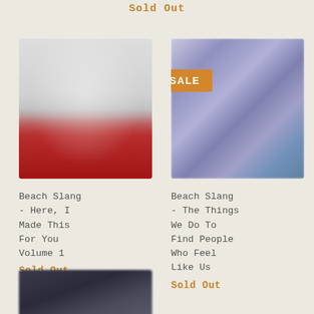Sold Out
[Figure (photo): Album cover for Beach Slang - Here, I Made This For You Volume 1, blurred, with red banner at bottom]
[Figure (photo): Album cover for Beach Slang - The Things We Do To Find People Who Feel Like Us, blurred purple/blue tones, with SALE badge overlay]
Beach Slang - Here, I Made This For You Volume 1
Sold Out
Beach Slang - The Things We Do To Find People Who Feel Like Us
Sold Out
[Figure (photo): Partial album cover visible at bottom left, dark tones, cut off]